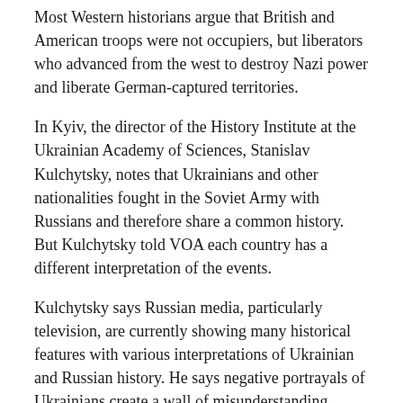Most Western historians argue that British and American troops were not occupiers, but liberators who advanced from the west to destroy Nazi power and liberate German-captured territories.
In Kyiv, the director of the History Institute at the Ukrainian Academy of Sciences, Stanislav Kulchytsky, notes that Ukrainians and other nationalities fought in the Soviet Army with Russians and therefore share a common history. But Kulchytsky told VOA each country has a different interpretation of the events.
Kulchytsky says Russian media, particularly television, are currently showing many historical features with various interpretations of Ukrainian and Russian history. He says negative portrayals of Ukrainians create a wall of misunderstanding, indeed lack of understanding, which results in an image of Ukraine as a nation with a very negative attitude toward Russia, which he rejects as not true.
Ukrainian President Viktor Yushchenko stirred